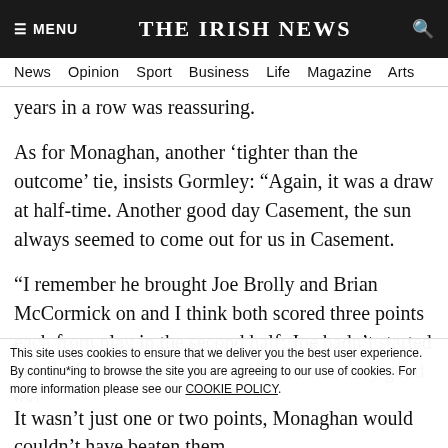THE IRISH NEWS
News   Opinion   Sport   Business   Life   Magazine   Arts
years in a row was reassuring.
As for Monaghan, another ‘tighter than the outcome’ tie, insists Gormley: “Again, it was a draw at half-time. Another good day Casement, the sun always seemed to come out for us in Casement.
“I remember he brought Joe Brolly and Brian McCormick on and I think both scored three points each from play in the second half; Joe hadn’t started either of those two games and Brian was very good too…
This site uses cookies to ensure that we deliver you the best user experience. By continuing to browse the site you are agreeing to our use of cookies. For more information please see our COOKIE POLICY.
It wasn’t just one or two points, Monaghan would couldn’t have beaten them...